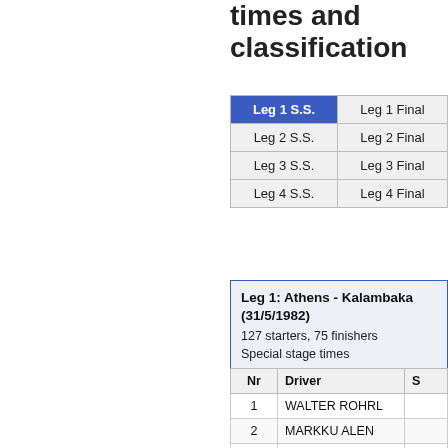times and classification
|  |  |
| --- | --- |
| Leg 1 S.S. | Leg 1 Final |
| Leg 2 S.S. | Leg 2 Final |
| Leg 3 S.S. | Leg 3 Final |
| Leg 4 S.S. | Leg 4 Final |
Leg 1: Athens - Kalambaka (31/5/1982)
127 starters, 75 finishers
Special stage times
| Nr | Driver | S |
| --- | --- | --- |
| 1 | WALTER ROHRL |  |
| 2 | MARKKU ALEN |  |
| 3 | HANNU MIKOLA |  |
| 4 | TIMO SALONEN |  |
| 6 | HENRI TOIVONEN |  |
| 7 | A. J. POND |  |
| 8 | A.VUDAFIERI |  |
| 9 | M.MOUTON |  |
| 10 | JIMMY MC RAE |  |